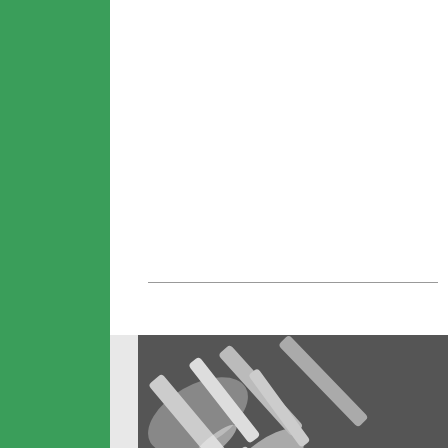[Figure (other): Green sidebar panel on the left side of the page]
[Figure (other): White content area on the right with a horizontal dividing line]
[Figure (photo): Black and white close-up photo of metallic/chrome mechanical parts with a pink magenta border overlay and large letters 'CO' in pink]
[Figure (logo): Infolinks badge in dark navy blue at bottom left of green sidebar]
[Figure (other): Bloomingdales advertisement banner: 'bloomingdales / View Today's Top Deals!' with a woman in a wide-brim hat and 'SHOP NOW >' button]